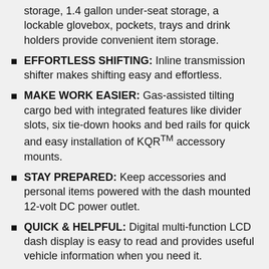storage, 1.4 gallon under-seat storage, a lockable glovebox, pockets, trays and drink holders provide convenient item storage.
EFFORTLESS SHIFTING: Inline transmission shifter makes shifting easy and effortless.
MAKE WORK EASIER: Gas-assisted tilting cargo bed with integrated features like divider slots, six tie-down hooks and bed rails for quick and easy installation of KQR™ accessory mounts.
STAY PREPARED: Keep accessories and personal items powered with the dash mounted 12-volt DC power outlet.
QUICK & HELPFUL: Digital multi-function LCD dash display is easy to read and provides useful vehicle information when you need it.
DURABILITY